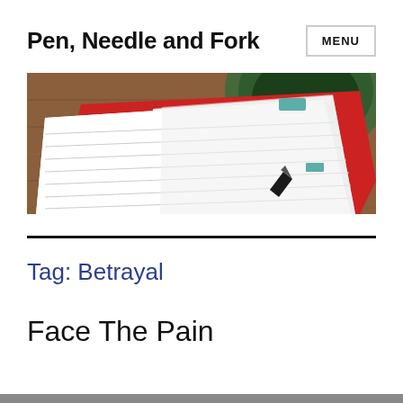Pen, Needle and Fork
[Figure (photo): A top-down photo of an open notebook with lined pages and a red cover, partially overlapping a green/teal cup on a wooden surface. A black pen or pencil tip is visible.]
Tag: Betrayal
Face The Pain